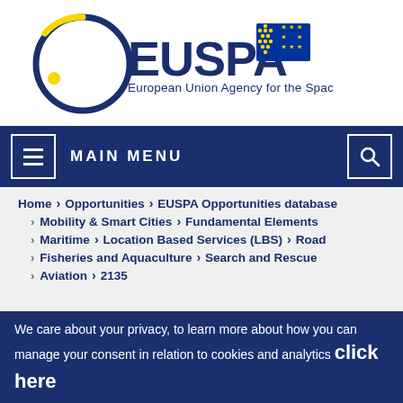[Figure (logo): EUSPA — European Union Agency for the Space Programme logo with EU flag]
MAIN MENU
Home > Opportunities > EUSPA Opportunities database
> Mobility & Smart Cities > Fundamental Elements
> Maritime > Location Based Services (LBS) > Road
> Fisheries and Aquaculture > Search and Rescue
> Aviation > 2135
We care about your privacy, to learn more about how you can manage your consent in relation to cookies and analytics click here